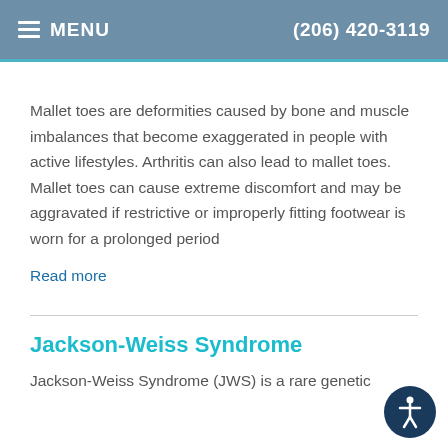MENU  (206) 420-3119
Mallet toes are deformities caused by bone and muscle imbalances that become exaggerated in people with active lifestyles. Arthritis can also lead to mallet toes. Mallet toes can cause extreme discomfort and may be aggravated if restrictive or improperly fitting footwear is worn for a prolonged period
Read more
Jackson-Weiss Syndrome
Jackson-Weiss Syndrome (JWS) is a rare genetic